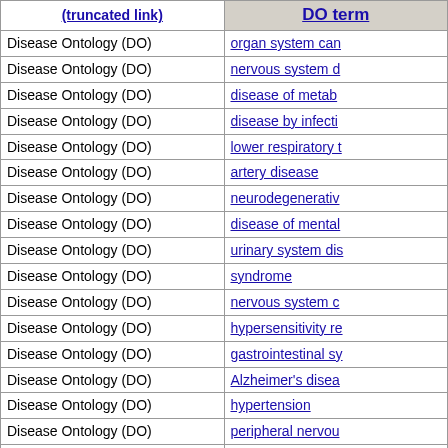|  | DO term |
| --- | --- |
| Disease Ontology (DO) | organ system can... |
| Disease Ontology (DO) | nervous system d... |
| Disease Ontology (DO) | disease of metab... |
| Disease Ontology (DO) | disease by infecti... |
| Disease Ontology (DO) | lower respiratory t... |
| Disease Ontology (DO) | artery disease |
| Disease Ontology (DO) | neurodegenerativ... |
| Disease Ontology (DO) | disease of mental... |
| Disease Ontology (DO) | urinary system dis... |
| Disease Ontology (DO) | syndrome |
| Disease Ontology (DO) | nervous system c... |
| Disease Ontology (DO) | hypersensitivity re... |
| Disease Ontology (DO) | gastrointestinal sy... |
| Disease Ontology (DO) | Alzheimer's disea... |
| Disease Ontology (DO) | hypertension |
| Disease Ontology (DO) | peripheral nervou... |
| Disease Ontology (DO) | parasitic infectiou... |
| Disease Ontology (DO) | asthma |
| Disease Ontology (DO) | ... |